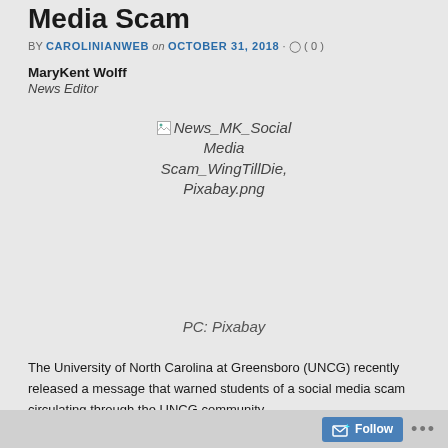Media Scam
BY CAROLINIANWEB on OCTOBER 31, 2018 · ◯ ( 0 )
MaryKent Wolff
News Editor
[Figure (photo): Broken image placeholder with filename: News_MK_Social Media Scam_WingTillDie, Pixabay.png]
PC: Pixabay
The University of North Carolina at Greensboro (UNCG) recently released a message that warned students of a social media scam circulating through the UNCG community.
Follow •••